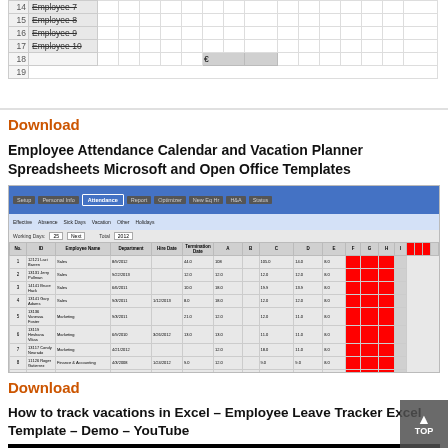[Figure (screenshot): Cropped top portion of an Excel-style spreadsheet showing employee rows 14-19 with row numbers, employee names, and grid cells. Rows visible: Employee 7, Employee 8, Employee 9, Employee 10, row 18 with Euro symbol, row 19 empty.]
Download
Employee Attendance Calendar and Vacation Planner Spreadsheets Microsoft and Open Office Templates
[Figure (screenshot): Screenshot of an employee attendance tracking spreadsheet application with blue toolbar at top, navigation tabs, and a detailed grid showing employee records with columns for Employee Name, Department, Hire Date, Termination Date, and multiple numeric columns. Some rows have red highlighting on the right side.]
Download
How to track vacations in Excel – Employee Leave Tracker Excel Template – Demo – YouTube
[Figure (screenshot): Black video thumbnail for a YouTube video about tracking vacations in Excel.]